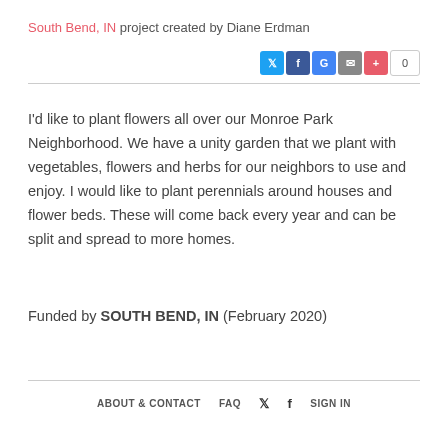South Bend, IN project created by Diane Erdman
I'd like to plant flowers all over our Monroe Park Neighborhood. We have a unity garden that we plant with vegetables, flowers and herbs for our neighbors to use and enjoy. I would like to plant perennials around houses and flower beds. These will come back every year and can be split and spread to more homes.
Funded by SOUTH BEND, IN (February 2020)
ABOUT & CONTACT   FAQ   [twitter]   [facebook]   SIGN IN